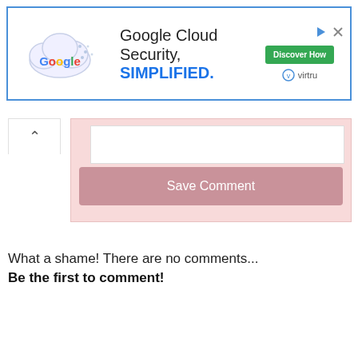[Figure (screenshot): Google Cloud Security advertisement banner with Google logo in a cloud shape, text 'Google Cloud Security. SIMPLIFIED.' and a green 'Discover How' button with Virtru logo]
[Figure (screenshot): Web comment form UI with a pink background panel, white textarea input, and a 'Save Comment' button in muted rose color. A chevron-up arrow button appears in the top-left corner of the panel.]
What a shame! There are no comments...
Be the first to comment!